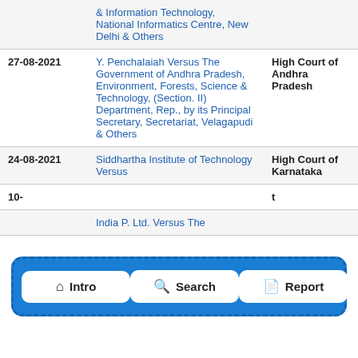| Date | Case | Court |
| --- | --- | --- |
|  | & Information Technology, National Informatics Centre, New Delhi & Others |  |
| 27-08-2021 | Y. Penchalaiah Versus The Government of Andhra Pradesh, Environment, Forests, Science & Technology, (Section. II) Department, Rep., by its Principal Secretary, Secretariat, Velagapudi & Others | High Court of Andhra Pradesh |
| 24-08-2021 | Siddhartha Institute of Technology Versus | High Court of Karnataka |
| 10-... |  | ...t |
|  | India P. Ltd. Versus The |  |
[Figure (infographic): Navigation bar with three buttons: Intro (home icon), Search (magnifier icon), Report (document icon), overlaid on a blue dashed rounded rectangle]